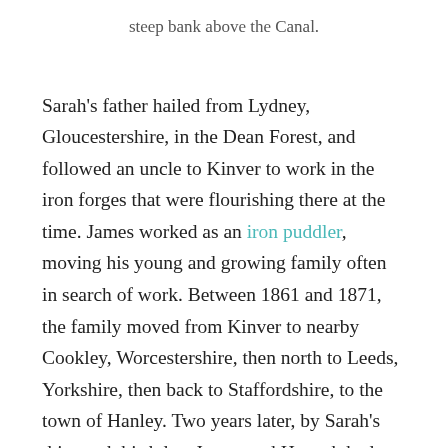steep bank above the Canal.
Sarah’s father hailed from Lydney, Gloucestershire, in the Dean Forest, and followed an uncle to Kinver to work in the iron forges that were flourishing there at the time. James worked as an iron puddler, moving his young and growing family often in search of work. Between 1861 and 1871, the family moved from Kinver to nearby Cookley, Worcestershire, then north to Leeds, Yorkshire, then back to Staffordshire, to the town of Hanley. Two years later, by Sarah’s thirteenth birthday, James and Hannah had moved to the Forest of Dean, where James was born and raised, and where they finally settled in for a while. It was here that Sarah met her husband-to-be, James